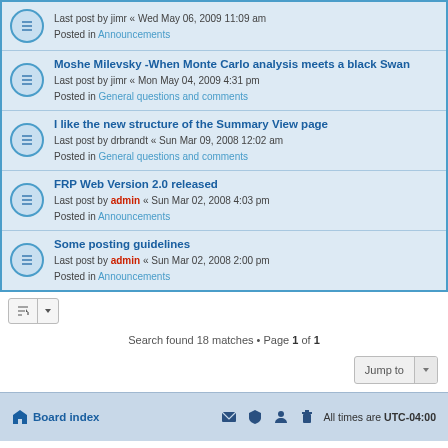Last post by jimr « Wed May 06, 2009 11:09 am
Posted in Announcements
Moshe Milevsky -When Monte Carlo analysis meets a black Swan
Last post by jimr « Mon May 04, 2009 4:31 pm
Posted in General questions and comments
I like the new structure of the Summary View page
Last post by drbrandt « Sun Mar 09, 2008 12:02 am
Posted in General questions and comments
FRP Web Version 2.0 released
Last post by admin « Sun Mar 02, 2008 4:03 pm
Posted in Announcements
Some posting guidelines
Last post by admin « Sun Mar 02, 2008 2:00 pm
Posted in Announcements
Search found 18 matches • Page 1 of 1
Board index | All times are UTC-04:00
Powered by phpBB® Forum Software © phpBB Limited
Privacy | Terms